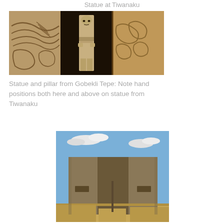Statue at Tiwanaku
[Figure (photo): Composite image showing stone carvings and statue from Gobekli Tepe: left panel shows carved relief with lines and organic shapes, center panel shows a standing humanoid stone statue with hands positioned at waist/abdomen, right panel shows carved stone surface with animal/symbolic carvings]
Statue and pillar from Gobekli Tepe: Note hand positions both here and above on statue from Tiwanaku
[Figure (photo): Photograph of a large stone gate or entrance structure at Tiwanaku, Bolivia, showing a monolithic stone doorway with carved face/figure at top center, under a blue sky with clouds]